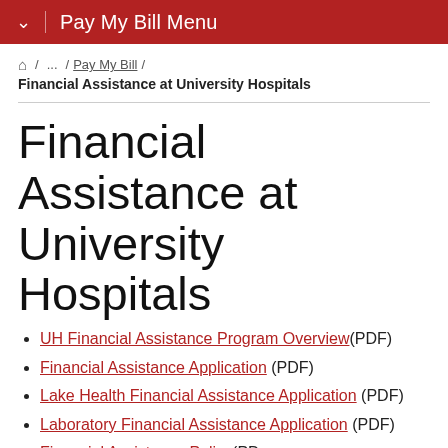Pay My Bill Menu
🏠 / ... / Pay My Bill / Financial Assistance at University Hospitals
Financial Assistance at University Hospitals
UH Financial Assistance Program Overview (PDF)
Financial Assistance Application (PDF)
Lake Health Financial Assistance Application (PDF)
Laboratory Financial Assistance Application (PDF)
Financial Assistance Policy (PDF)